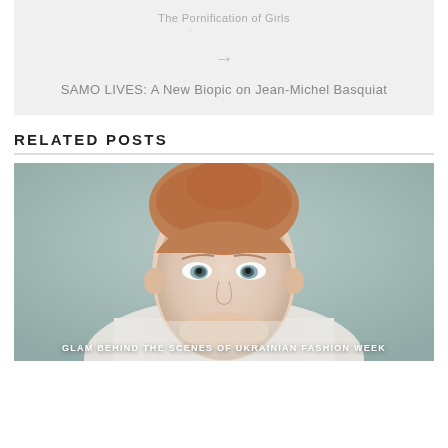The Pornification of Girls
←
→
SAMO LIVES: A New Biopic on Jean-Michel Basquiat
RELATED POSTS
[Figure (photo): Close-up portrait of a young woman with red hair pulled back, pale skin, wearing a white collared shirt, photographed against a muted teal-grey background. Fashion editorial style.]
GLAM BEHIND THE SCENES OF UKRAINIAN FASHION WEEK